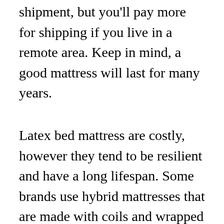shipment, but you'll pay more for shipping if you live in a remote area. Keep in mind, a good mattress will last for many years.
Latex bed mattress are costly, however they tend to be resilient and have a long lifespan. Some brands use hybrid mattresses that are made with coils and wrapped with fabric to lower noise and movement. However, these types can likewise increase the rate of a bed. The price variety of a latex mattress also depends on the kind of latex used. A natural latex bed mattress will cost more than a